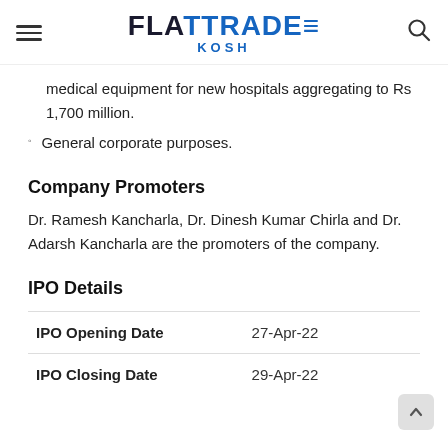FLATTRADE KOSH
medical equipment for new hospitals aggregating to Rs 1,700 million.
General corporate purposes.
Company Promoters
Dr. Ramesh Kancharla, Dr. Dinesh Kumar Chirla and Dr. Adarsh Kancharla are the promoters of the company.
IPO Details
|  |  |
| --- | --- |
| IPO Opening Date | 27-Apr-22 |
| IPO Closing Date | 29-Apr-22 |